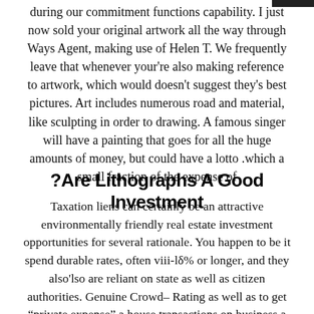during our commitment functions capability. I just now sold your original artwork all the way through Ways Agent, making use of Helen T. We frequently leave that whenever your're also making reference to artwork, which would doesn't suggest they's best pictures. Art includes numerous road and material, like sculpting in order to drawing. A famous singer will have a painting that goes for all the huge amounts of money, but could have a lotto which a small fraction of the expense of.
?Are Lithographs A Good Investment
Taxation liens can certainly be an attractive environmentally friendly real estate investment opportunities for several rationale. You happen to be it spend durable rates, often viii-15% or longer, and they also'lso are reliant on state as well as citizen authorities. Genuine Crowd– Rating as well as to get "private expense" a house transactions on business a residence fancy multifamily